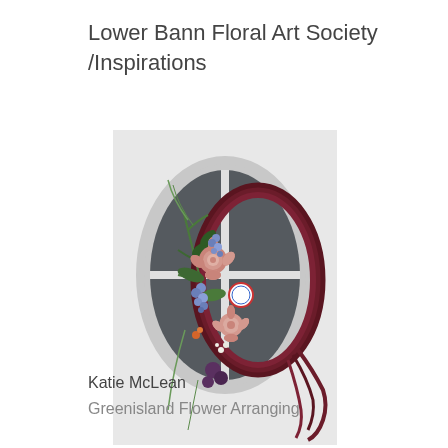Lower Bann Floral Art Society /Inspirations
[Figure (photo): A decorative floral wreath made of dark red/burgundy twisted branches, adorned with pink, peach, and blue flowers including what appear to be dahlias and muscari, hanging on a white door with an oval glass window panel.]
Katie McLean
Greenisland Flower Arranging